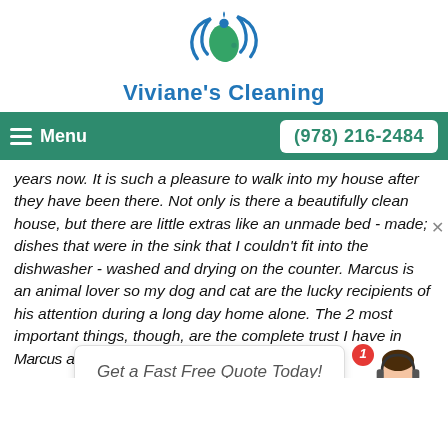[Figure (logo): Viviane's Cleaning logo — teal/blue swirl with leaf and water drop icons]
Viviane's Cleaning
Menu | (978) 216-2484
years now. It is such a pleasure to walk into my house after they have been there. Not only is there a beautifully clean house, but there are little extras like an unmade bed - made; dishes that were in the sink that I couldn't fit into the dishwasher - washed and drying on the counter. Marcus is an animal lover so my dog and cat are the lucky recipients of his attention during a long day home alone. The 2 most important things, though, are the complete trust I have in Marcus and his r... s to accomm... occasionally pop up for me, is always greatly appreciated. I would wholeheartedly recommend
[Figure (screenshot): Chat popup overlay saying 'Get a Fast Free Quote Today!' with a customer service avatar and a red badge showing '1']